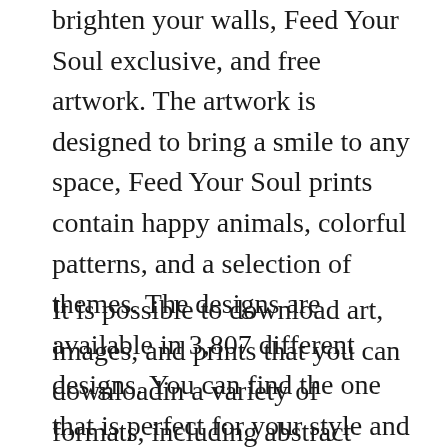brighten your walls, Feed Your Soul exclusive, and free artwork. The artwork is designed to bring a smile to any space, Feed Your Soul prints contain happy animals, colorful patterns, and a selection of themes. The designs are available in 3,807 different designs. You can find the one that is perfect for your style and your budget, and incorporate
It is possible to download art, images, and prints that you can downloadin a variety of formats, including abstract watercolors and floral designs. You can download them all in different sizes. You can even make your own